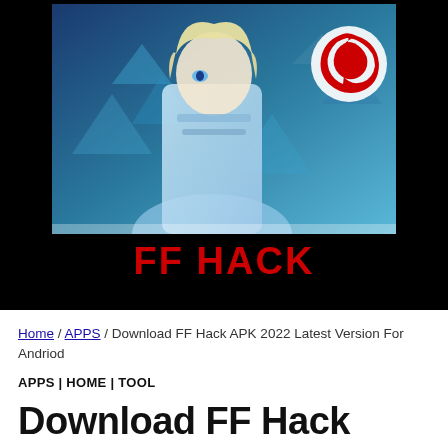[Figure (illustration): Free Fire game banner with anime-style character with white/blonde hair, blue themed background with geometric shapes, red Garena logo (dragon/flame swirl) in top right, white 'FF HACK' text banner below]
Home / APPS / Download FF Hack APK 2022 Latest Version For Andriod
APPS | HOME | TOOL
Download FF Hack APK 2022 Latest Version For Andriod